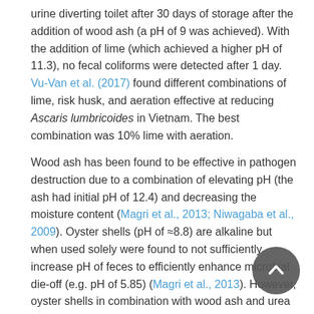urine diverting toilet after 30 days of storage after the addition of wood ash (a pH of 9 was achieved). With the addition of lime (which achieved a higher pH of 11.3), no fecal coliforms were detected after 1 day. Vu-Van et al. (2017) found different combinations of lime, risk husk, and aeration effective at reducing Ascaris lumbricoides in Vietnam. The best combination was 10% lime with aeration.
Wood ash has been found to be effective in pathogen destruction due to a combination of elevating pH (the ash had initial pH of 12.4) and decreasing the moisture content (Magri et al., 2013; Niwagaba et al., 2009). Oyster shells (pH of ≈8.8) are alkaline but when used solely were found to not sufficiently increase pH of feces to efficiently enhance microbial die-off (e.g. pH of 5.85) (Magri et al., 2013). However, oyster shells in combination with wood ash and urea can be effective at reducing pathogens (Magri et al., 2013). Crushing the shells should improve their effectiveness. Moreover, regarding use of ash, the effectiveness of the ash will depend not only on the type of ash (not all ashes are highly basic) including the burning temperature and chemical